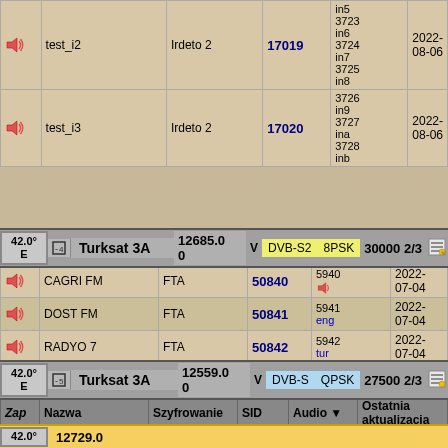|  | Nazwa | Szyfrowanie | SID | Audio | Ostatnia aktualizacja |
| --- | --- | --- | --- | --- | --- |
| test_i2 |  | Irdeto 2 | 17019 | in5 3723 in6 3724 in7 3725 in8 | 2022-08-06 |
| test_i3 |  | Irdeto 2 | 17020 | 3726 in9 3727 ina 3728 inb | 2022-08-06 |
42.0° E  -4 Turksat 3A  12685.00  V  DVB-S2  8PSK  30000 2/3
|  | Nazwa | Szyfrowanie | SID | Audio | Ostatnia aktualizacja |
| --- | --- | --- | --- | --- | --- |
| CAGRI FM | FTA | 50840 | 5940 | 2022-07-04 |
| DOST FM | FTA | 50841 | 5941 eng | 2022-07-04 |
| RADYO 7 | FTA | 50842 | 5942 tur | 2022-07-04 |
| LALEGUL FM | FTA | 50843 | 5943 eng | 2022-07-04 |
42.0° E  -5 Turksat 3A  12559.00  V  DVB-S  QPSK  27500 2/3
| Zap | Nazwa | Szyfrowanie | SID | Audio | Ostatnia aktualizacja |
| --- | --- | --- | --- | --- | --- |
| RADYOBILIM | FTA | 50417 | 5517 tur | 2022-04-30 |
42.0° E  12729.0